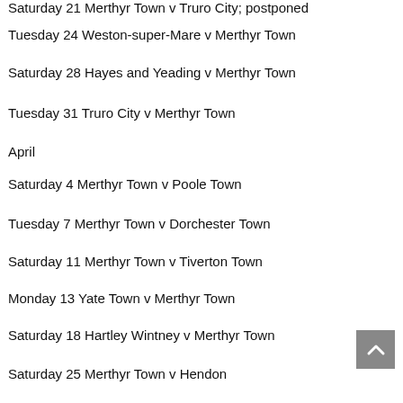Saturday 21 Merthyr Town v Truro City; postponed
Tuesday 24 Weston-super-Mare v Merthyr Town
Saturday 28 Hayes and Yeading v Merthyr Town
Tuesday 31 Truro City v Merthyr Town
April
Saturday 4 Merthyr Town v Poole Town
Tuesday 7 Merthyr Town v Dorchester Town
Saturday 11 Merthyr Town v Tiverton Town
Monday 13 Yate Town v Merthyr Town
Saturday 18 Hartley Wintney v Merthyr Town
Saturday 25 Merthyr Town v Hendon